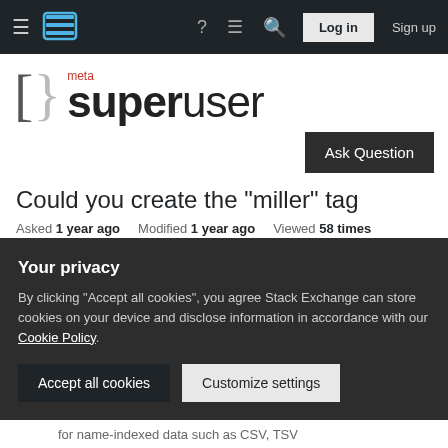Stack Exchange navigation bar with hamburger menu, Stack Exchange logo, help icon, chat icon, search icon, Log in button, Sign up button
[Figure (logo): Meta Super User site logo — bracket-curly brace icon followed by 'meta' in red above 'superuser' in black bold text]
Ask Question
Could you create the "miller" tag
Asked 1 year ago   Modified 1 year ago   Viewed 58 times
Miller is a great cli tool to work with structured text
Your privacy
By clicking "Accept all cookies", you agree Stack Exchange can store cookies on your device and disclose information in accordance with our Cookie Policy.
Accept all cookies
Customize settings
for name-indexed data such as CSV, TSV